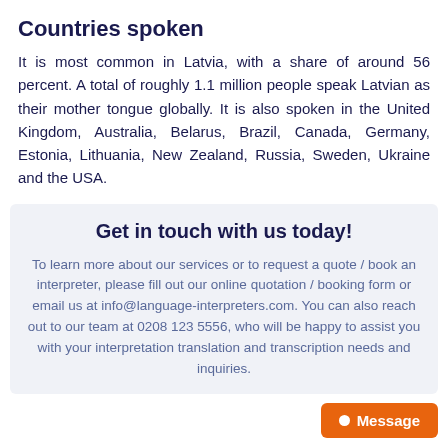Countries spoken
It is most common in Latvia, with a share of around 56 percent. A total of roughly 1.1 million people speak Latvian as their mother tongue globally. It is also spoken in the United Kingdom, Australia, Belarus, Brazil, Canada, Germany, Estonia, Lithuania, New Zealand, Russia, Sweden, Ukraine and the USA.
Get in touch with us today!
To learn more about our services or to request a quote / book an interpreter, please fill out our online quotation / booking form or email us at info@language-interpreters.com. You can also reach out to our team at 0208 123 5556, who will be happy to assist you with your interpretation translation and transcription needs and inquiries.